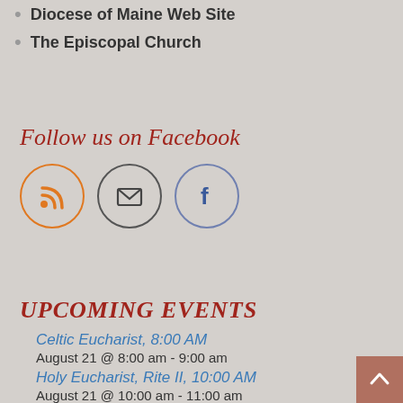Diocese of Maine Web Site
The Episcopal Church
Follow us on Facebook
[Figure (illustration): Three social media icon circles: RSS feed (orange border), Email/envelope (dark border), Facebook 'f' (blue-gray border)]
UPCOMING EVENTS
Celtic Eucharist, 8:00 AM
August 21 @ 8:00 am - 9:00 am
Holy Eucharist, Rite II, 10:00 AM
August 21 @ 10:00 am - 11:00 am
Celtic Eucharist, 8:00 AM
August 28 @ 8:00 am - 9:00 am